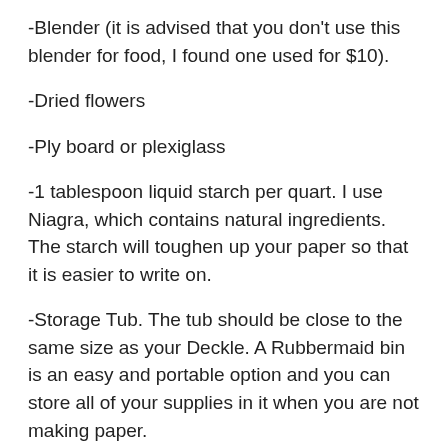-Blender (it is advised that you don't use this blender for food, I found one used for $10).
-Dried flowers
-Ply board or plexiglass
-1 tablespoon liquid starch per quart. I use Niagra, which contains natural ingredients. The starch will toughen up your paper so that it is easier to write on.
-Storage Tub. The tub should be close to the same size as your Deckle. A Rubbermaid bin is an easy and portable option and you can store all of your supplies in it when you are not making paper.